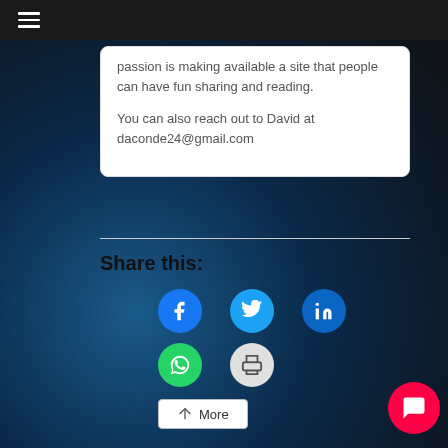≡
passion is making available a site that people can have fun sharing and reading.

You can also reach out to David at daconde24@gmail.com
Share this:
[Figure (other): Social share buttons: Facebook (blue circle), Twitter (cyan circle), LinkedIn (dark blue circle), WhatsApp (green circle), Print (grey circle), More button]